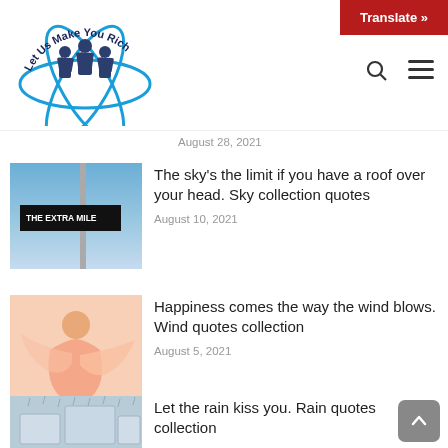[Figure (logo): Let Us Make You Rich logo with three businessmen silhouettes and atomic orbit graphic]
Translate »
[Figure (infographic): Search icon and hamburger menu icon]
August 28, 2021
[Figure (photo): Street sign reading THE EXTRA MILE with arrow, against blue sky with pole]
The sky's the limit if you have a roof over your head. Sky collection quotes
August 10, 2021
[Figure (photo): Woman in pink flowing dress against pink background]
Happiness comes the way the wind blows. Wind quotes collection
August 5, 2021
[Figure (photo): Rainy street scene with buildings]
Let the rain kiss you. Rain quotes collection